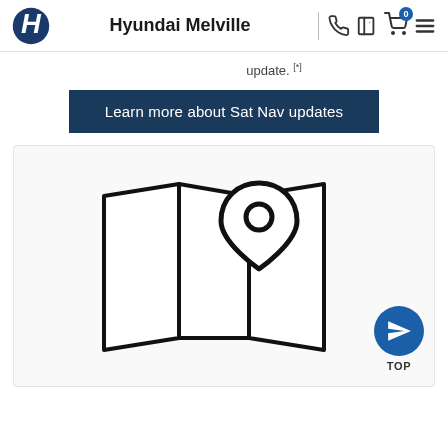Hyundai Melville
update. [*]
Learn more about Sat Nav updates
[Figure (illustration): A folded map icon with a location pin marker on it, rendered as a simple black outline illustration on a white/light grey card background.]